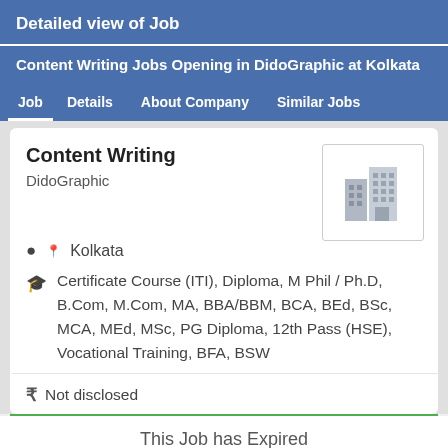Detailed view of Job
Content Writing Jobs Opening in DidoGraphic at Kolkata
Job | Details | About Company | Similar Jobs
Content Writing
DidoGraphic
[Figure (illustration): Gray building/company logo icon]
Kolkata
Certificate Course (ITI), Diploma, M Phil / Ph.D, B.Com, M.Com, MA, BBA/BBM, BCA, BEd, BSc, MCA, MEd, MSc, PG Diploma, 12th Pass (HSE), Vocational Training, BFA, BSW
Not disclosed
This Job has Expired